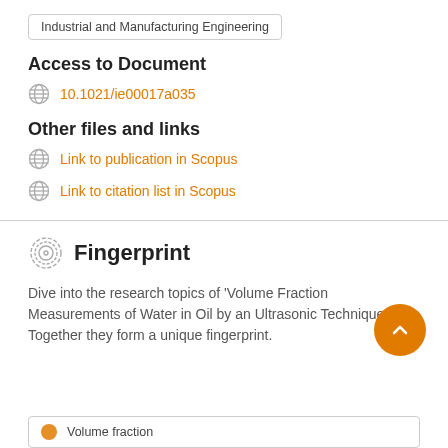Industrial and Manufacturing Engineering
Access to Document
10.1021/ie00017a035
Other files and links
Link to publication in Scopus
Link to citation list in Scopus
Fingerprint
Dive into the research topics of 'Volume Fraction Measurements of Water in Oil by an Ultrasonic Technique'. Together they form a unique fingerprint.
Volume fraction